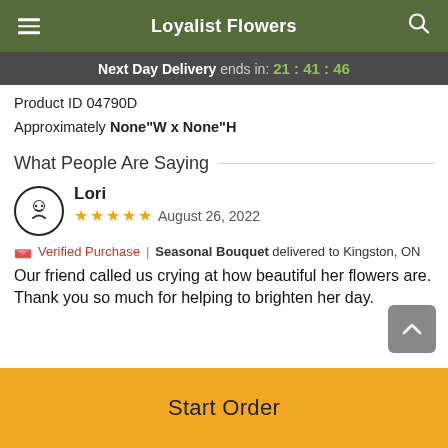Loyalist Flowers
Next Day Delivery ends in: 21 : 41 : 46
Product ID 04790D
Approximately None"W x None"H
What People Are Saying
Lori
★★★★★  August 26, 2022
Verified Purchase | Seasonal Bouquet delivered to Kingston, ON
Our friend called us crying at how beautiful her flowers are. Thank you so much for helping to brighten her day.
Start Order